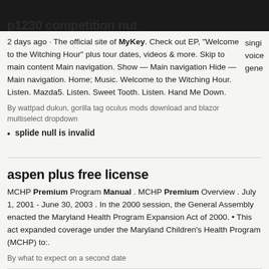p1230 competition nut
2 days ago · The official site of MyKey. Check out EP, "Welcome to the Witching Hour" plus tour dates, videos & more. Skip to main content Main navigation. Show — Main navigation Hide — Main navigation. Home; Music. Welcome to the Witching Hour. Listen. Mazda5. Listen. Sweet Tooth. Listen. Hand Me Down.
By wattpad dukun, gorilla tag oculus mods download and blazor multiselect dropdown
splide null is invalid
aspen plus free license
MCHP Premium Program Manual . MCHP Premium Overview . July 1, 2001 - June 30, 2003 . In the 2000 session, the General Assembly enacted the Maryland Health Program Expansion Act of 2000. • This act expanded coverage under the Maryland Children's Health Program (MCHP) to:.
By what to expect on a second date